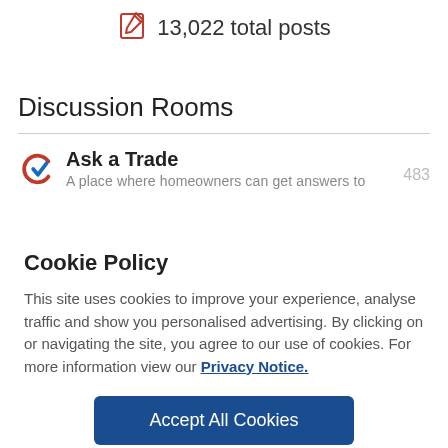13,022 total posts
Discussion Rooms
Ask a Trade
A place where homeowners can get answers to   483
Cookie Policy
This site uses cookies to improve your experience, analyse traffic and show you personalised advertising. By clicking on or navigating the site, you agree to our use of cookies. For more information view our Privacy Notice.
Accept All Cookies